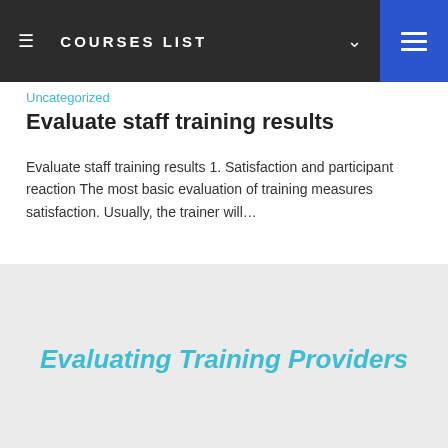COURSES LIST
Uncategorized
Evaluate staff training results
Evaluate staff training results 1. Satisfaction and participant reaction The most basic evaluation of training measures satisfaction. Usually, the trainer will…
[Figure (other): Light gray thumbnail card with italic cyan text reading 'Evaluating Training Providers']
Uncategorized
Evaluating Training Providers